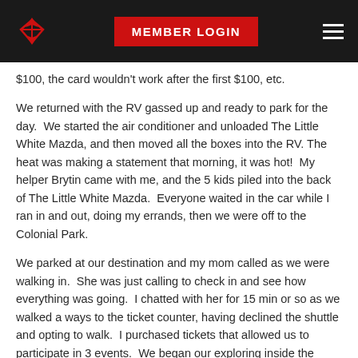MEMBER LOGIN
$100, the card wouldn't work after the first $100, etc.
We returned with the RV gassed up and ready to park for the day.  We started the air conditioner and unloaded The Little White Mazda, and then moved all the boxes into the RV. The heat was making a statement that morning, it was hot!  My helper Brytin came with me, and the 5 kids piled into the back of The Little White Mazda.  Everyone waited in the car while I ran in and out, doing my errands, then we were off to the Colonial Park.
We parked at our destination and my mom called as we were walking in.  She was just calling to check in and see how everything was going.  I chatted with her for 15 min or so as we walked a ways to the ticket counter, having declined the shuttle and opting to walk.  I purchased tickets that allowed us to participate in 3 events.  We began our exploring inside the gates, the whole town was